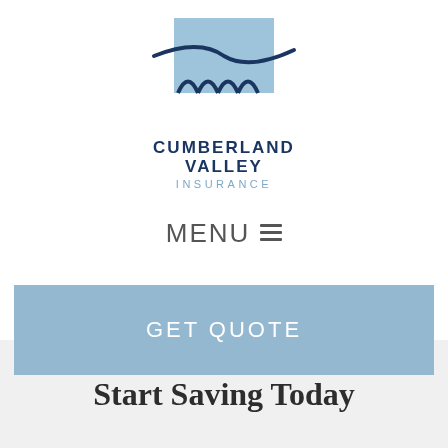[Figure (logo): Cumberland Valley Insurance logo with light blue rectangular background, dark navy swoosh line, and four arch shapes beneath it]
CUMBERLAND VALLEY INSURANCE
MENU ≡
GET QUOTE
Start Saving Today